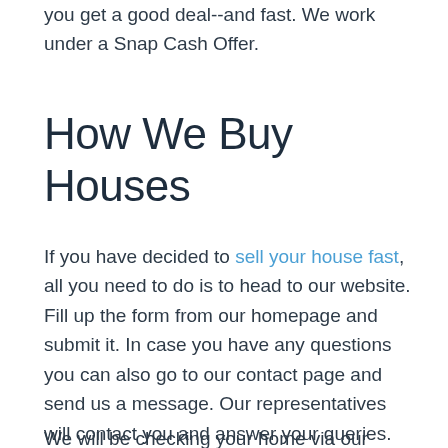you get a good deal--and fast. We work under a Snap Cash Offer.
How We Buy Houses
If you have decided to sell your house fast, all you need to do is to head to our website. Fill up the form from our homepage and submit it. In case you have any questions you can also go to our contact page and send us a message. Our representatives will contact you and answer your queries.
We will be checking your home via our